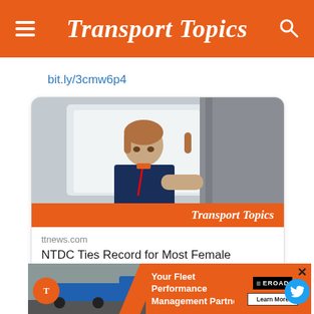Transport Topics
bit.ly/3cmw6p4
[Figure (screenshot): Article card showing a female truck driver in cab with Transport Topics branding strip]
ttnews.com
NTDC Ties Record for Most Female Competitors
[Figure (infographic): Advertisement banner for EROAD Fleet Performance Management Partner with truck image]